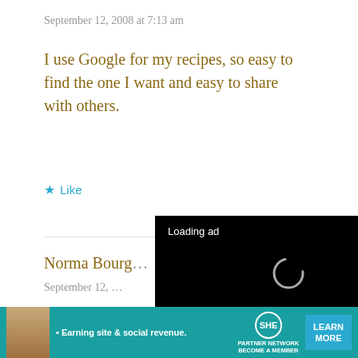September 12, 2008 at 7:13 am
I use Google for my recipes, so easy to find the one I want and easy to share with others.
★ Like
Norma Bourg…
September 12, …
Judy, I don't think you're stupid, I think you're very normal. Or is it maybe. I do…
[Figure (screenshot): Video ad overlay with black background showing 'Loading ad' text, a spinner icon, and playback controls (pause, expand, mute)]
[Figure (screenshot): Bottom banner advertisement for SHE Media Partner Network: 'Earning site & social revenue' with LEARN MORE button]